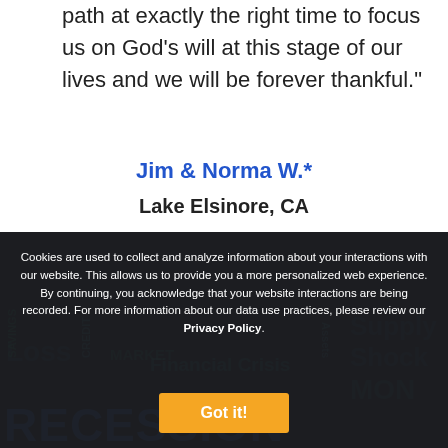path at exactly the right time to focus us on God’s will at this stage of our lives and we will be forever thankful."
Jim & Norma W.*
Lake Elsinore, CA
Cookies are used to collect and analyze information about your interactions with our website. This allows us to provide you a more personalized web experience. By continuing, you acknowledge that your website interactions are being recorded. For more information about our data use practices, please review our Privacy Policy.
Got it!
[Figure (other): Financial terms background image showing words: Loss, Market, Financial Crisis, Supply Shock, Assets, Mon, Recession]